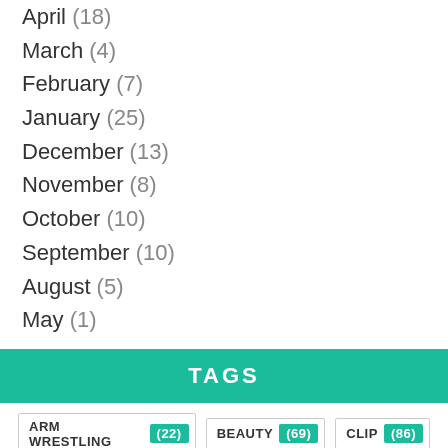April (18)
March (4)
February (7)
January (25)
December (13)
November (8)
October (10)
September (10)
August (5)
May (1)
TAGS
ARM WRESTLING (22)
BEAUTY (69)
CLIP (86)
COMPETITIONS (16)
CONSUMER PRODUCTS (9)
DIABETES HEALTH (82)
DIET (170)
FEMALE BODYBUILDERS BIOGRAPHY (138)
FINANCIAL (5)